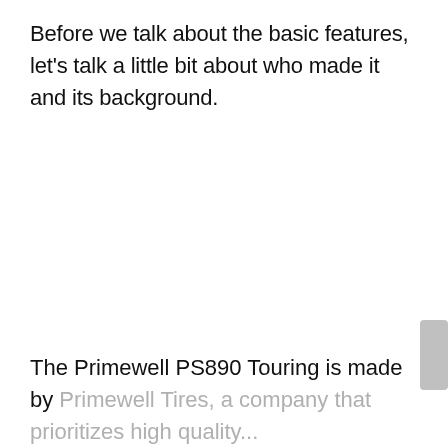Before we talk about the basic features, let's talk a little bit about who made it and its background.
The Primewell PS890 Touring is made by Primewell Tires, a company that prioritizes high quality and craftsmanship...